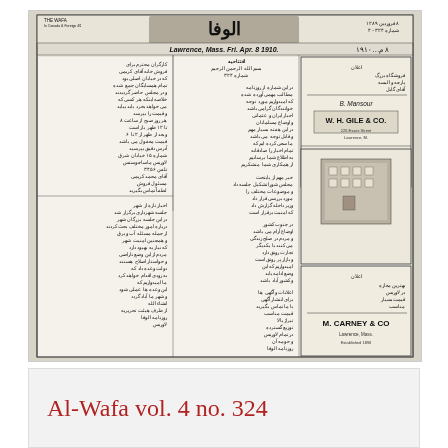[Figure (photo): Scanned newspaper front page in Arabic script (Urdu/Arabic language newspaper). The masthead reads 'Lawrence, Mass. Fri. Apr. 8 1910' with Arabic numerals '١٩١٠'. Multiple columns of Arabic/Urdu text fill the page. Right side contains advertisements including 'W. H. GILE & CO.' and 'M. CARNEY & CO.' with an illustration of a building.]
Al-Wafa vol. 4 no. 324